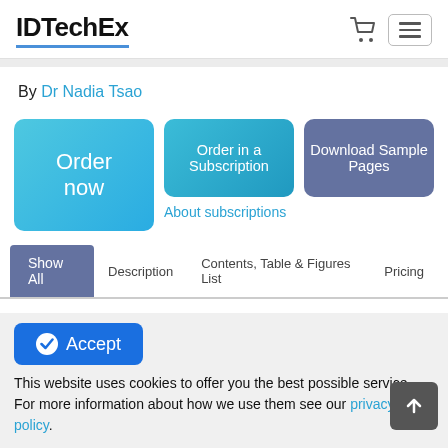IDTechEx
By Dr Nadia Tsao
Order now
Order in a Subscription
Download Sample Pages
About subscriptions
Show All | Description | Contents, Table & Figures List | Pricing
Synthetic biology can broadly be described as the engineering
Accept
This website uses cookies to offer you the best possible service. For more information about how we use them see our privacy policy.